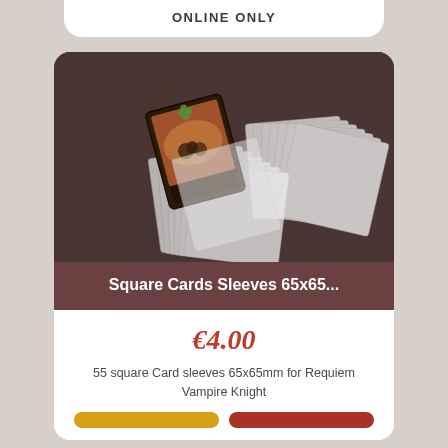ONLINE ONLY
[Figure (photo): Product photo of Square Cards Sleeves 65x65mm showing transparent card sleeves fanned out on a dark brown background, with a game card inserted in one sleeve.]
Square Cards Sleeves 65x65...
€4.00
55 square Card sleeves 65x65mm for Requiem Vampire Knight